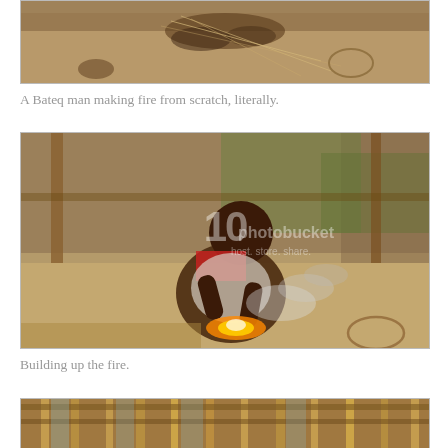[Figure (photo): Top portion of a photo showing hands working with natural fibers/materials, cropped at top of page]
A Bateq man making fire from scratch, literally.
[Figure (photo): A Bateq man crouching under a wooden structure, building a fire from scratch, with smoke visible, Photobucket watermark overlay]
Building up the fire.
[Figure (photo): Partial view of a wooden structure/shelter, bamboo poles visible, cropped at bottom of page]